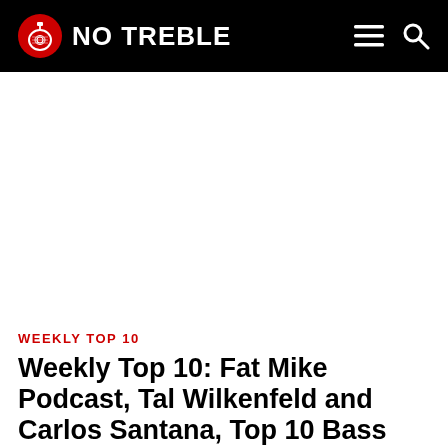NO TREBLE
WEEKLY TOP 10
Weekly Top 10: Fat Mike Podcast, Tal Wilkenfeld and Carlos Santana, Top 10 Bass Gear, Kansas – “Leftoverture”